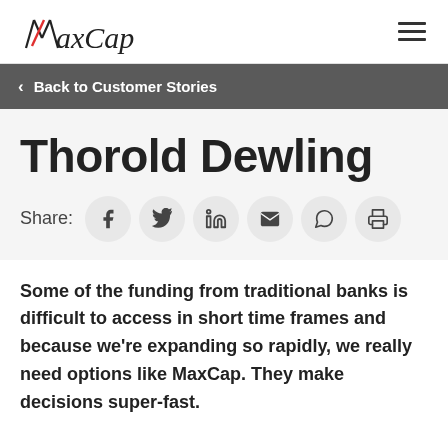MaxCap
Back to Customer Stories
Thorold Dewling
Share:
Some of the funding from traditional banks is difficult to access in short time frames and because we're expanding so rapidly, we really need options like MaxCap. They make decisions super-fast.